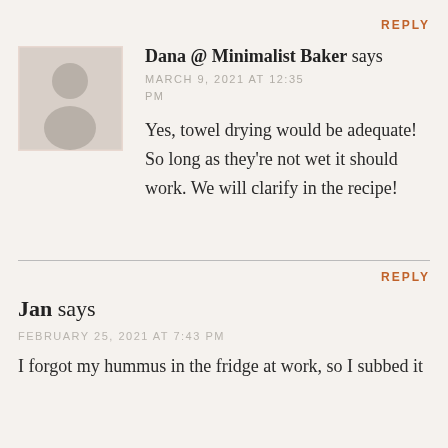REPLY
Dana @ Minimalist Baker says
MARCH 9, 2021 AT 12:35 PM
[Figure (illustration): Generic user avatar placeholder with grey background, white silhouette of a person]
Yes, towel drying would be adequate! So long as they're not wet it should work. We will clarify in the recipe!
REPLY
Jan says
FEBRUARY 25, 2021 AT 7:43 PM
I forgot my hummus in the fridge at work, so I subbed it